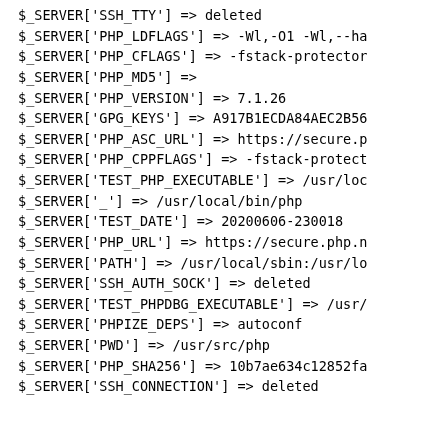$_SERVER['SSH_TTY'] => deleted
$_SERVER['PHP_LDFLAGS'] => -Wl,-O1 -Wl,--ha
$_SERVER['PHP_CFLAGS'] => -fstack-protector
$_SERVER['PHP_MD5'] =>
$_SERVER['PHP_VERSION'] => 7.1.26
$_SERVER['GPG_KEYS'] => A917B1ECDA84AEC2B56
$_SERVER['PHP_ASC_URL'] => https://secure.p
$_SERVER['PHP_CPPFLAGS'] => -fstack-protect
$_SERVER['TEST_PHP_EXECUTABLE'] => /usr/loc
$_SERVER['_'] => /usr/local/bin/php
$_SERVER['TEST_DATE'] => 20200606-230018
$_SERVER['PHP_URL'] => https://secure.php.n
$_SERVER['PATH'] => /usr/local/sbin:/usr/lo
$_SERVER['SSH_AUTH_SOCK'] => deleted
$_SERVER['TEST_PHPDBG_EXECUTABLE'] => /usr/
$_SERVER['PHPIZE_DEPS'] => autoconf
$_SERVER['PWD'] => /usr/src/php
$_SERVER['PHP_SHA256'] => 10b7ae634c12852fa
$_SERVER['SSH_CONNECTION'] => deleted